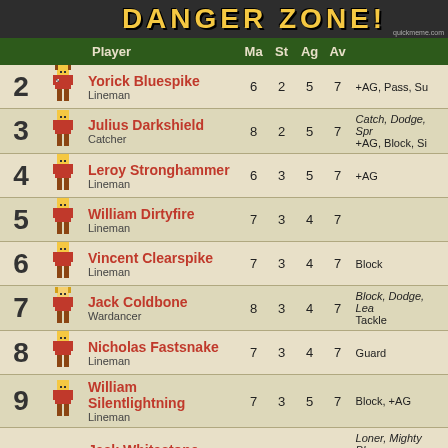[Figure (screenshot): DANGER ZONE banner header with pixel art style yellow text on dark background]
| # |  | Player | Ma | St | Ag | Av | Skills |
| --- | --- | --- | --- | --- | --- | --- | --- |
| 2 | [img] | Yorick Bluespike / Lineman | 6 | 2 | 5 | 7 | +AG, Pass, Su... |
| 3 | [img] | Julius Darkshield / Catcher | 8 | 2 | 5 | 7 | Catch, Dodge, Spr... +AG, Block, Si... |
| 4 | [img] | Leroy Stronghammer / Lineman | 6 | 3 | 5 | 7 | +AG |
| 5 | [img] | William Dirtyfire / Lineman | 7 | 3 | 4 | 7 |  |
| 6 | [img] | Vincent Clearspike / Lineman | 7 | 3 | 4 | 7 | Block |
| 7 | [img] | Jack Coldbone / Wardancer | 8 | 3 | 4 | 7 | Block, Dodge, Lea... Tackle |
| 8 | [img] | Nicholas Fastsnake / Lineman | 7 | 3 | 4 | 7 | Guard |
| 9 | [img] | William Silentlightning / Lineman | 7 | 3 | 5 | 7 | Block, +AG |
| 10 |  | Jack Whitestone / Treeman | 2 | 6 | 1 | 10 | Loner, Mighty Blow... Skull, Throw Team... |
| 17 | [img] | Ian Bluestone / Journeyman Lineman | 7 | 3 | 4 | 7 | Loner |